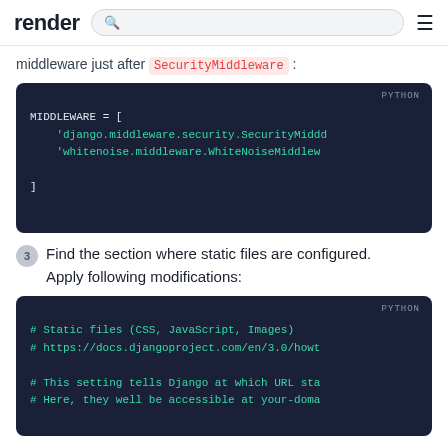render [search] [menu]
middleware just after SecurityMiddleware :
[Figure (screenshot): Python code block showing MIDDLEWARE list with 'django.middleware.security.SecurityMiddl... and 'whitenoise.middleware.WhiteNoiseMiddlew... entries]
3. Find the section where static files are configured. Apply following modifications:
[Figure (screenshot): Python code block showing static files configuration with comments: # Static files (CSS, JavaScript, Images), # https://docs.djangoproject.com/en/3.0/howt..., # This setting tells Django at which URL sta..., # Here, they well be accessible at your-doma...]